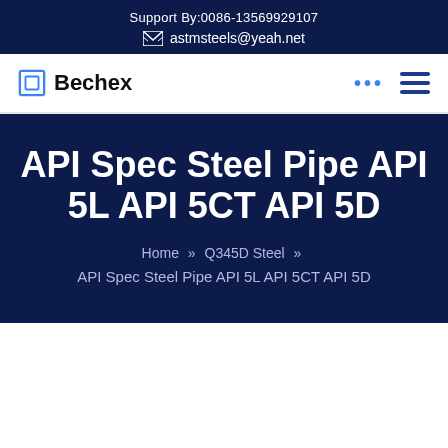Support By:0086-13569929107
astmsteels@yeah.net
Bechex
API Spec Steel Pipe API 5L API 5CT API 5D
Home » Q345D Steel » API Spec Steel Pipe API 5L API 5CT API 5D